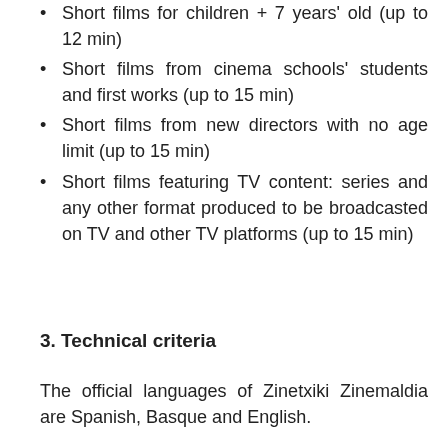Short films for children + 7 years' old (up to 12 min)
Short films from cinema schools' students and first works (up to 15 min)
Short films from new directors with no age limit (up to 15 min)
Short films featuring TV content: series and any other format produced to be broadcasted on TV and other TV platforms (up to 15 min)
3. Technical criteria
The official languages of Zinetxiki Zinemaldia are Spanish, Basque and English.